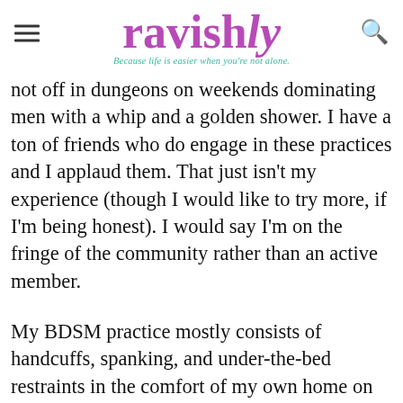ravishly — Because life is easier when you're not alone.
not off in dungeons on weekends dominating men with a whip and a golden shower. I have a ton of friends who do engage in these practices and I applaud them. That just isn't my experience (though I would like to try more, if I'm being honest). I would say I'm on the fringe of the community rather than an active member.
My BDSM practice mostly consists of handcuffs, spanking, and under-the-bed restraints in the comfort of my own home on my mattress. In a word, it is quite tame. That doesn't make it better or worse than anything else.